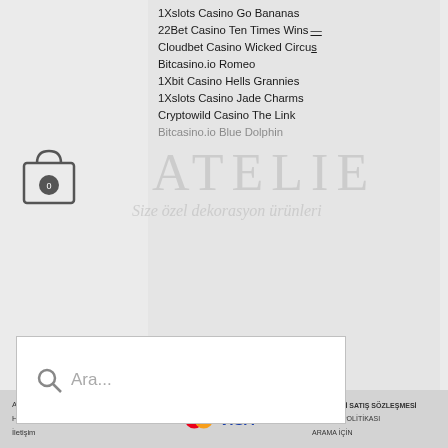1Xslots Casino Go Bananas
22Bet Casino Ten Times Wins
Cloudbet Casino Wicked Circus
Bitcasino.io Romeo
1Xbit Casino Hells Grannies
1Xslots Casino Jade Charms
Cryptowild Casino The Link
[Figure (logo): Atelier logo watermark with Turkish text 'Size özel dekorasyon ürünleri']
[Figure (screenshot): Shopping bag icon with 0 badge]
[Figure (screenshot): Search box with magnifying glass icon and placeholder text 'Ara...']
Vegas Crest Casino Mega Power Heroes
30 Freispiele No Deposit Bitstarz
Bitstarz Casino 20 Freispiele
Bitstarz Casino Download
Bitstarz Casino 25 Бесплатные Вращения
Alışveriş  Hakkımızda  İletişim  | MESAFELİ SATIŞ SÖZLEŞMESİ  GİZLİLİK POLİTİKASI  ARAMA İÇİN